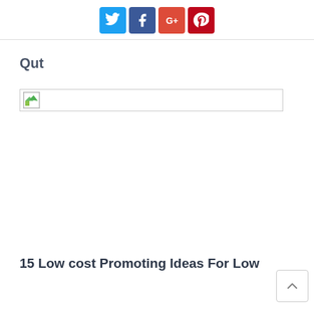Social share icons: Twitter, Facebook, Google+, Pinterest
Qut
[Figure (other): Broken image placeholder with small thumbnail icon]
15 Low cost Promoting Ideas For Low
[Figure (other): Back to top arrow button in bottom right corner]